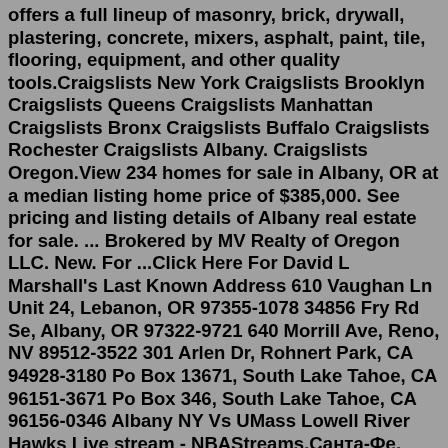offers a full lineup of masonry, brick, drywall, plastering, concrete, mixers, asphalt, paint, tile, flooring, equipment, and other quality tools.Craigslists New York Craigslists Brooklyn Craigslists Queens Craigslists Manhattan Craigslists Bronx Craigslists Buffalo Craigslists Rochester Craigslists Albany. Craigslists Oregon.View 234 homes for sale in Albany, OR at a median listing home price of $385,000. See pricing and listing details of Albany real estate for sale. ... Brokered by MV Realty of Oregon LLC. New. For ...Click Here For David L Marshall's Last Known Address 610 Vaughan Ln Unit 24, Lebanon, OR 97355-1078 34856 Fry Rd Se, Albany, OR 97322-9721 640 Morrill Ave, Reno, NV 89512-3522 301 Arlen Dr, Rohnert Park, CA 94928-3180 Po Box 13671, South Lake Tahoe, CA 96151-3671 Po Box 346, South Lake Tahoe, CA 96156-0346 Albany NY Vs UMass Lowell River Hawks Live stream - NBAStreams.Санта-Фе. New York. Albany. Нью-Йорк. Оклахома-сити. Oregon.New surprises